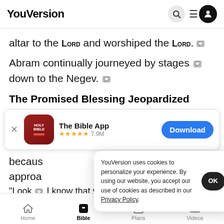YouVersion
altar to the LORD and worshiped the LORD.
Abram continually journeyed by stages down to the Negev.
The Promised Blessing Jeopardized
[Figure (screenshot): App download banner for The Bible App showing app icon, 5-star rating with 7.9M reviews, and Download button]
becaus
approa
"Look   I know that you are a beautiful woman
YouVersion uses cookies to personalize your experience. By using our website, you accept our use of cookies as described in our Privacy Policy.
Home   Bible   Plans   Videos